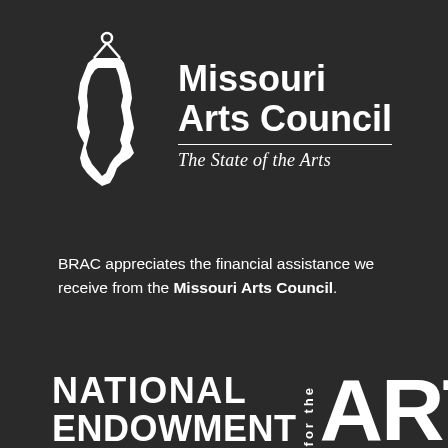[Figure (logo): Missouri Arts Council logo with Missouri state silhouette outline hanging from a hook, white on dark background, with text 'Missouri Arts Council' and tagline 'The State of the Arts' in italic serif font]
BRAC appreciates the financial assistance we receive from the Missouri Arts Council.
[Figure (logo): National Endowment for the Arts logo — 'NATIONAL ENDOWMENT' in large bold white sans-serif text with 'for the' in vertical smaller text and 'ARTS' in very large bold white letters]